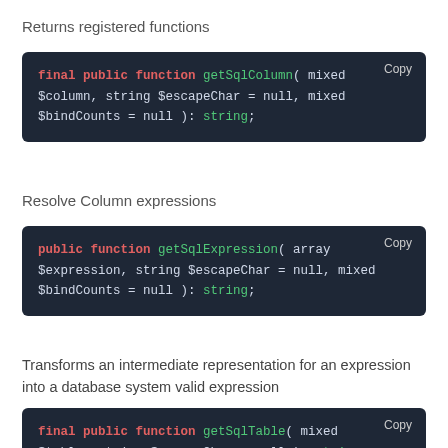Returns registered functions
[Figure (screenshot): Code block showing: final public function getSqlColumn( mixed $column, string $escapeChar = null, mixed $bindCounts = null ): string;]
Resolve Column expressions
[Figure (screenshot): Code block showing: public function getSqlExpression( array $expression, string $escapeChar = null, mixed $bindCounts = null ): string;]
Transforms an intermediate representation for an expression into a database system valid expression
[Figure (screenshot): Code block showing: final public function getSqlTable( mixed $table, string $escapeChar = null ): string;]